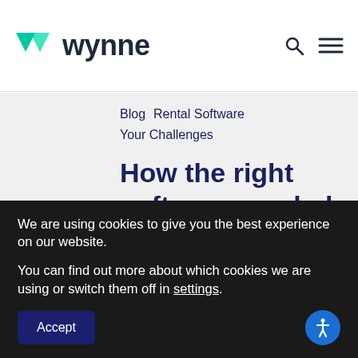[Figure (logo): Wynne logo with teal/green diamond chevron icon and dark text 'wynne', plus search and hamburger menu icons on the right]
Blog  Rental Software
Your Challenges
How the right software can help
We are using cookies to give you the best experience on our website.
You can find out more about which cookies we are using or switch them off in settings.
Accept